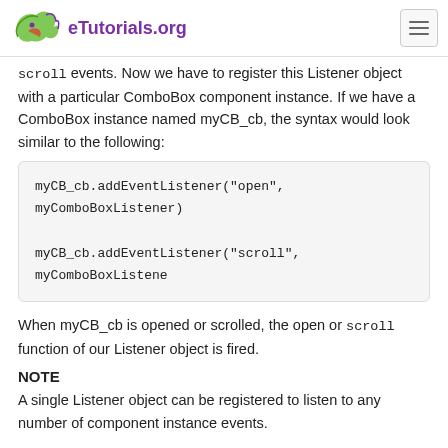eTutorials.org
scroll events. Now we have to register this Listener object with a particular ComboBox component instance. If we have a ComboBox instance named myCB_cb, the syntax would look similar to the following:
myCB_cb.addEventListener("open", myComboBoxListener)

myCB_cb.addEventListener("scroll", myComboBoxListene
When myCB_cb is opened or scrolled, the open or scroll function of our Listener object is fired.
NOTE
A single Listener object can be registered to listen to any number of component instance events.